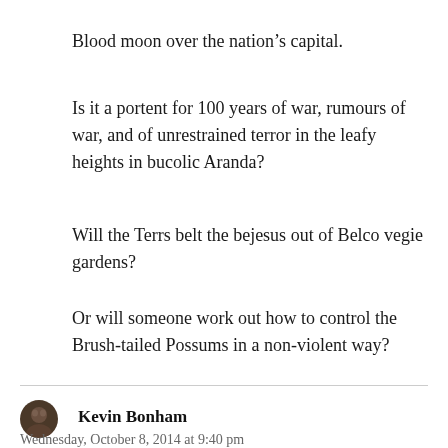Blood moon over the nation’s capital.
Is it a portent for 100 years of war, rumours of war, and of unrestrained terror in the leafy heights in bucolic Aranda?
Will the Terrs belt the bejesus out of Belco vegie gardens?
Or will someone work out how to control the Brush-tailed Possums in a non-violent way?
Kevin Bonham
Wednesday, October 8, 2014 at 9:40 pm